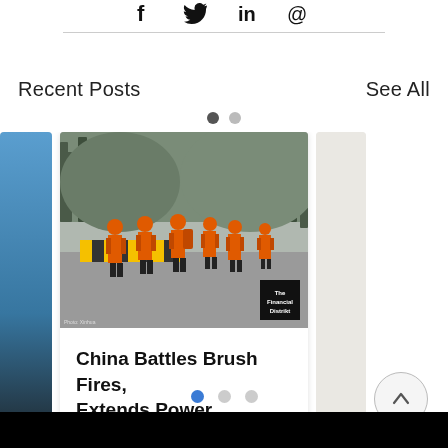Social share icons: Facebook, Twitter, LinkedIn, Email
Recent Posts
See All
[Figure (photo): Carousel of article cards. Center card shows firefighters in orange gear marching along a road with a yellow-black striped barrier. Left and right cards partially visible. FT watermark logo on center image.]
China Battles Brush Fires, Extends Power Rationing Du...